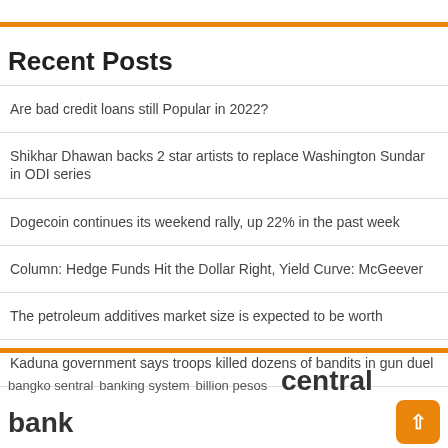Recent Posts
Are bad credit loans still Popular in 2022?
Shikhar Dhawan backs 2 star artists to replace Washington Sundar in ODI series
Dogecoin continues its weekend rally, up 22% in the past week
Column: Hedge Funds Hit the Dollar Right, Yield Curve: McGeever
The petroleum additives market size is expected to be worth
Kaduna government says troops killed dozens of bandits in gun duel
bangko sentral  banking system  billion pesos  central bank  covid pandemic  federal government  financial institutions  interest rates  loanable funds  loans